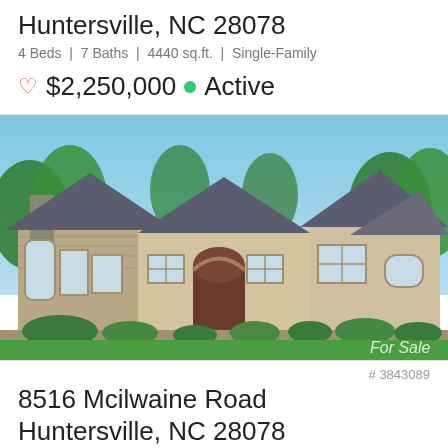Huntersville, NC 28078
4 Beds | 7 Baths | 4440 sq.ft. | Single-Family
$2,250,000 Active
[Figure (photo): Exterior photo of a large stone and stucco single-family home with slate roof, arched entryway, manicured lawn and shrubs, blue sky with trees in background. 'For Sale' watermark in bottom right corner.]
# 3843089
8516 Mcilwaine Road
Huntersville, NC 28078
4 Beds | 7 Baths | 4440 sq.ft. | Single-Family